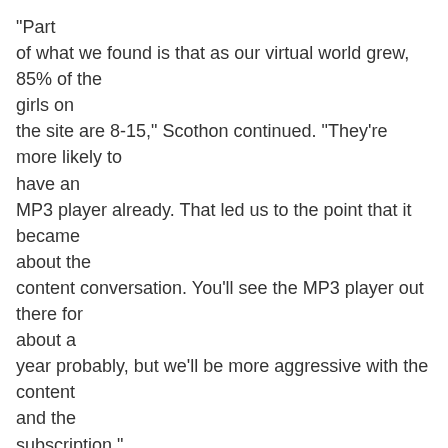"Part of what we found is that as our virtual world grew, 85% of the girls on the site are 8-15," Scothon continued. "They're more likely to have an MP3 player already. That led us to the point that it became about the content conversation. You'll see the MP3 player out there for about a year probably, but we'll be more aggressive with the content and the subscription."
The model of selling toys to unlock content has been successfully practiced by plenty of other virtual worlds—notably Webkinz—and, in fact, there's almost a backlash against subscription-based models in the current climate. More developers see